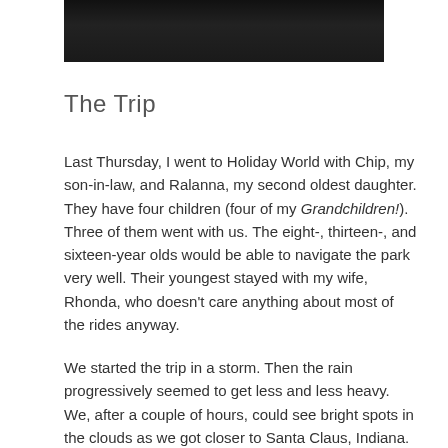[Figure (photo): Dark photograph, partially visible at top of page, appears to be an outdoor scene with dark foliage or trees against a dark sky]
The Trip
Last Thursday, I went to Holiday World with Chip, my son-in-law, and Ralanna, my second oldest daughter. They have four children (four of my Grandchildren!). Three of them went with us. The eight-, thirteen-, and sixteen-year olds would be able to navigate the park very well. Their youngest stayed with my wife, Rhonda, who doesn't care anything about most of the rides anyway.
We started the trip in a storm. Then the rain progressively seemed to get less and less heavy. We, after a couple of hours, could see bright spots in the clouds as we got closer to Santa Claus, Indiana. Yes, that's really the name of the town where Holiday World